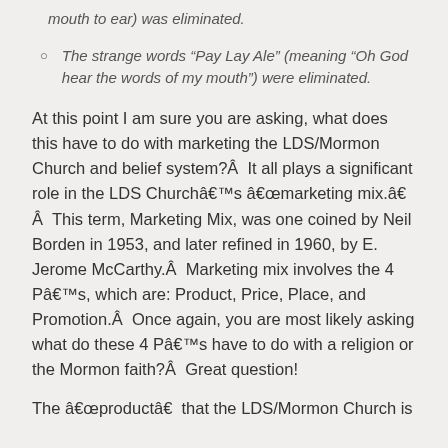mouth to ear) was eliminated.
The strange words “Pay Lay Ale” (meaning “Oh God hear the words of my mouth”) were eliminated.
At this point I am sure you are asking, what does this have to do with marketing the LDS/Mormon Church and belief system?Â  It all plays a significant role in the LDS Churchâ€™s â€œmarketing mix.â€  Â  This term, Marketing Mix, was one coined by Neil Borden in 1953, and later refined in 1960, by E. Jerome McCarthy.Â  Marketing mix involves the 4 Pâ€™s, which are: Product, Price, Place, and Promotion.Â  Once again, you are most likely asking what do these 4 Pâ€™s have to do with a religion or the Mormon faith?Â  Great question!
The â€œproductâ€ that the LDS/Mormon Church is